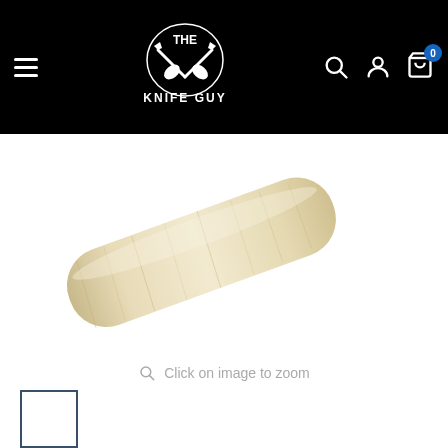[Figure (logo): The Knife Guy logo — crossed knives with muscular hands, white on black, with text THE KNIFE GUY]
[Figure (photo): Close-up of a light-colored wooden knife handle with natural wood grain, photographed on a white background]
Click on image to zoom
[Figure (photo): Small thumbnail image of the knife handle, shown in a bordered selection box]